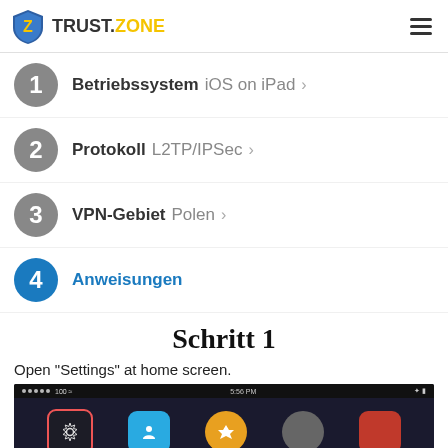TRUST.ZONE
1 Betriebssystem iOS on iPad >
2 Protokoll L2TP/IPSec >
3 VPN-Gebiet Polen >
4 Anweisungen
Schritt 1
Open "Settings" at home screen.
[Figure (screenshot): iPad home screen showing app icons including Settings, with dark background and status bar at top]